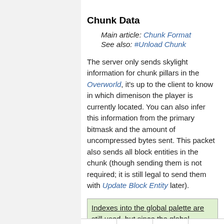Chunk Data
Main article: Chunk Format
See also: #Unload Chunk
The server only sends skylight information for chunk pillars in the Overworld, it's up to the client to know in which dimenison the player is currently located. You can also infer this information from the primary bitmask and the amount of uncompressed bytes sent. This packet also sends all block entities in the chunk (though sending them is not required; it is still legal to send them with Update Block Entity later).
Indexes into the global palette are still used, but since the global palette has changed, behavior is different.